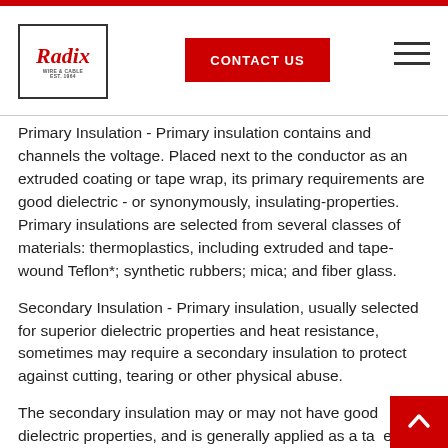Radix Wire & Cable — CONTACT US
Primary Insulation - Primary insulation contains and channels the voltage. Placed next to the conductor as an extruded coating or tape wrap, its primary requirements are good dielectric - or synonymously, insulating-properties. Primary insulations are selected from several classes of materials: thermoplastics, including extruded and tape-wound Teflon*; synthetic rubbers; mica; and fiber glass.
Secondary Insulation - Primary insulation, usually selected for superior dielectric properties and heat resistance, sometimes may require a secondary insulation to protect against cutting, tearing or other physical abuse.
The secondary insulation may or may not have good dielectric properties, and is generally applied as a tape wrap or serving. Standard constructions that employ